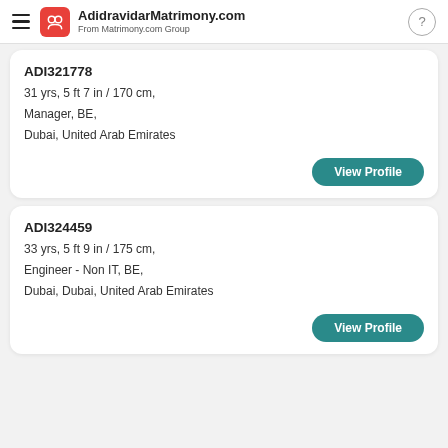AdidravidarMatrimony.com
From Matrimony.com Group
ADI321778
31 yrs, 5 ft 7 in / 170 cm,
Manager, BE,
Dubai, United Arab Emirates
View Profile
ADI324459
33 yrs, 5 ft 9 in / 175 cm,
Engineer - Non IT, BE,
Dubai, Dubai, United Arab Emirates
View Profile